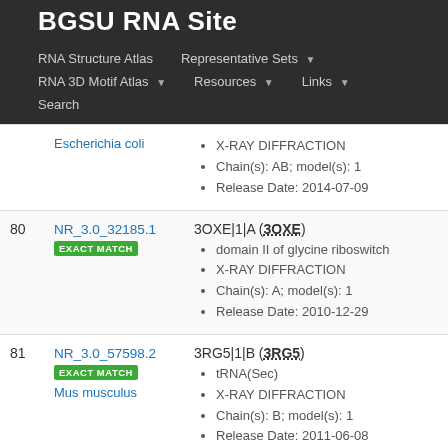BGSU RNA Site
RNA Structure Atlas | Representative Sets ▼ | RNA 3D Motif Atlas ▼ | Resources ▼ | Links ▼ | Search
| # | ID | Details |
| --- | --- | --- |
|  | Escherichia coli | X-RAY DIFFRACTION
Chain(s): AB; model(s): 1
Release Date: 2014-07-09 |
| 80 | NR_3.0_32185.1
EXACT MATCH | 3OXE|1|A (3OXE)
domain II of glycine riboswitch
X-RAY DIFFRACTION
Chain(s): A; model(s): 1
Release Date: 2010-12-29 |
| 81 | NR_3.0_57598.2
EXACT MATCH
Mus musculus | 3RG5|1|B (3RG5)
tRNA(Sec)
X-RAY DIFFRACTION
Chain(s): B; model(s): 1
Release Date: 2011-06-08 |